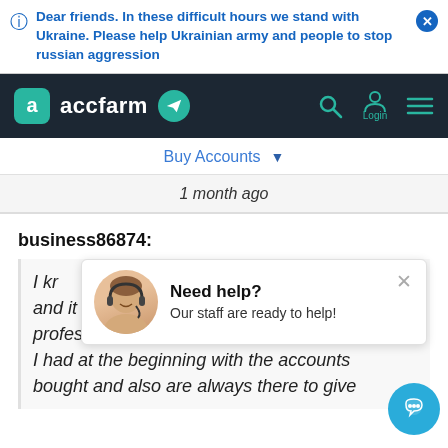Dear friends. In these difficult hours we stand with Ukraine. Please help Ukrainian army and people to stop russian aggression
[Figure (screenshot): accfarm website navigation bar with logo, telegram icon, search, login and menu icons on dark background]
Buy Accounts
1 month ago
business86874:
[Figure (photo): Help popup with smiling woman wearing headset. Text: Need help? Our staff are ready to help!]
I kr... ds and it changed everything, they are really professional and they fixed a few probl... I had at the beginning with the accounts... bought and also are always there to give